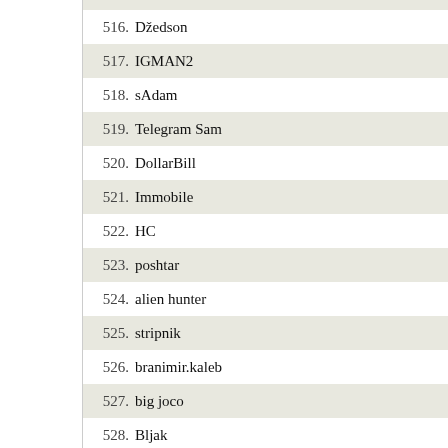516. Džedson
517. IGMAN2
518. sAdam
519. Telegram Sam
520. DollarBill
521. Immobile
522. HC
523. poshtar
524. alien hunter
525. stripnik
526. branimir.kaleb
527. big joco
528. Bljak
529. Bob
530. Stribor
531. djule